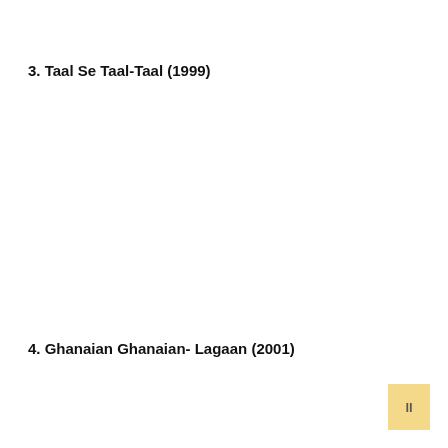3. Taal Se Taal-Taal (1999)
4. Ghanaian Ghanaian- Lagaan (2001)